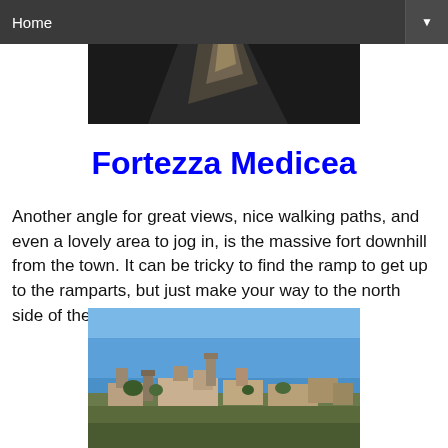Home
[Figure (photo): Partial top photo, dark image with light streak, appears to be a scenic or architectural photo cropped at top]
Fortezza Medicea
Another angle for great views, nice walking paths, and even a lovely area to jog in, is the massive fort downhill from the town. It can be tricky to find the ramp to get up to the ramparts, but just make your way to the north side of the fortress and head on up!
[Figure (photo): Exterior photo of Fortezza Medicea fortress and town skyline against a clear blue sky, showing medieval towers and stone buildings on a hilltop]